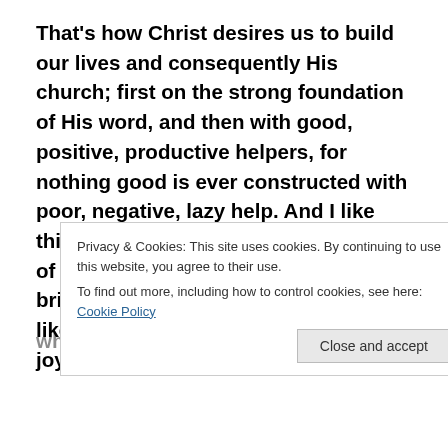That’s how Christ desires us to build our lives and consequently His church; first on the strong foundation of His word, and then with good, positive, productive helpers, for nothing good is ever constructed with poor, negative, lazy help. And I like this last quote, because it is the sum of all that we’ve spoken about so far, it brings all those things into a Christ-like fulfillment. It says: ‘When you are joyful, when you say yes to life and have fun and project
Privacy & Cookies: This site uses cookies. By continuing to use this website, you agree to their use.
To find out more, including how to control cookies, see here: Cookie Policy
Close and accept